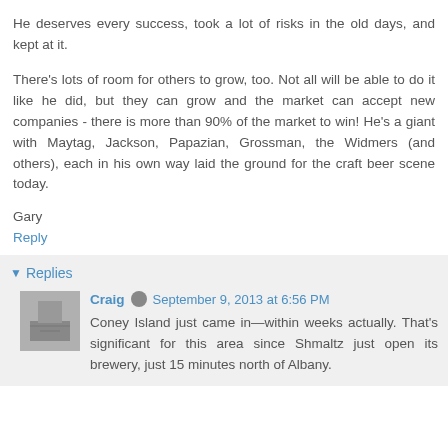He deserves every success, took a lot of risks in the old days, and kept at it.
There's lots of room for others to grow, too. Not all will be able to do it like he did, but they can grow and the market can accept new companies - there is more than 90% of the market to win! He's a giant with Maytag, Jackson, Papazian, Grossman, the Widmers (and others), each in his own way laid the ground for the craft beer scene today.
Gary
Reply
Replies
Craig  September 9, 2013 at 6:56 PM
Coney Island just came in—within weeks actually. That's significant for this area since Shmaltz just open its brewery, just 15 minutes north of Albany.